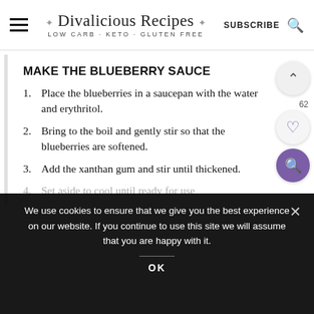Divalicious Recipes LOW CARB - KETO - GLUTEN FREE | SUBSCRIBE
MAKE THE BLUEBERRY SAUCE
Place the blueberries in a saucepan with the water and erythritol.
Bring to the boil and gently stir so that the blueberries are softened.
Add the xanthan gum and stir until thickened.
Set aside to cool until ready for use
We use cookies to ensure that we give you the best experience on our website. If you continue to use this site we will assume that you are happy with it.
OK